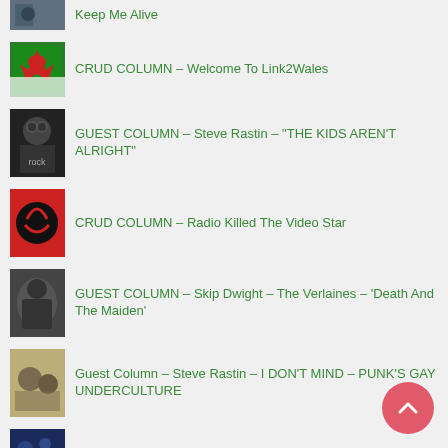Keep Me Alive
CRUD COLUMN – Welcome To Link2Wales
GUEST COLUMN – Steve Rastin – “THE KIDS AREN’T ALRIGHT”
CRUD COLUMN – Radio Killed The Video Star
GUEST COLUMN – Skip Dwight – The Verlaines – ‘Death And The Maiden’
Guest Column – Steve Rastin – I DON’T MIND – PUNK’S GAY UNDERCULTURE
GUEST COLUMN – Skip Dwight – Flesh D-Vice – ‘Kill That Girl’